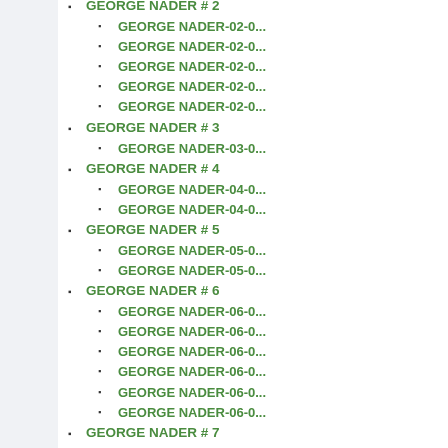GEORGE NADER # 2
GEORGE NADER-02-0...
GEORGE NADER-02-0...
GEORGE NADER-02-0...
GEORGE NADER-02-0...
GEORGE NADER-02-0...
GEORGE NADER # 3
GEORGE NADER-03-0...
GEORGE NADER # 4
GEORGE NADER-04-0...
GEORGE NADER-04-0...
GEORGE NADER # 5
GEORGE NADER-05-0...
GEORGE NADER-05-0...
GEORGE NADER # 6
GEORGE NADER-06-0...
GEORGE NADER-06-0...
GEORGE NADER-06-0...
GEORGE NADER-06-0...
GEORGE NADER-06-0...
GEORGE NADER-06-0...
GEORGE NADER # 7
GEORGE NADER-07-0...
GEORGE NADER # 8
GEORGE NADER-08-0...
GEORGE NADER-08-0...
GEORGE NADER # 9
GEORGE NADER-09-0...
GEORGE NADER-09-0...